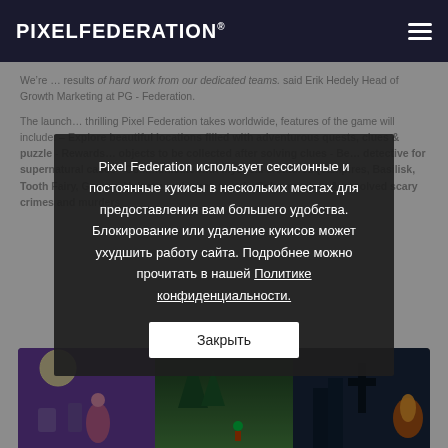PIXELFEDERATION
We're... results of hard work from our dedicated teams. said Erik Hedely Head of Growth Marketing at PG - Federation.
The launch... thrilling Pixel Federation takes worldwide, features of the game will include: - Explore beautiful locations filled with adventurous quests, clues & puzzle - Rewards... objects to be collected after solving clues - Be... detective for supernatural cases - Communicate with mystical creatures (Vampires, Basilisk, Tooth Fairy, Gnome, Unicorn and many more) - Solve mystery & unsolved scary crimes and murders
[Figure (screenshot): Game screenshot showing colorful illustrated game scenes with purple/green/dark city environments]
Pixel Federation использует сессионные и постоянные кукисы в нескольких местах для предоставления вам большего удобства. Блокирование или удаление кукисов может ухудшить работу сайта. Подробнее можно прочитать в нашей Политике конфиденциальности.
Закрыть